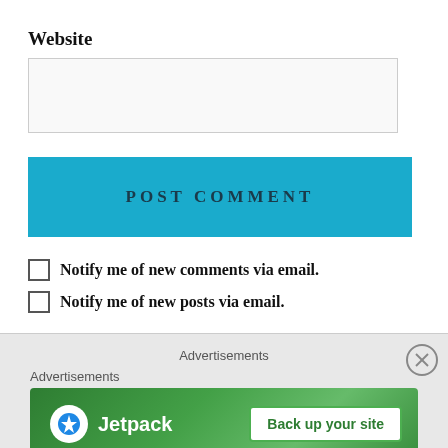Website
[Figure (screenshot): Website text input field, empty]
[Figure (screenshot): POST COMMENT button in teal/blue color]
Notify me of new comments via email.
Notify me of new posts via email.
Advertisements
Advertisements
[Figure (screenshot): Jetpack advertisement banner with 'Back up your site' button on green background]